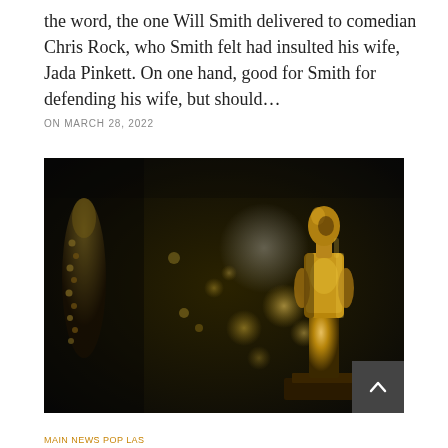the word, the one Will Smith delivered to comedian Chris Rock, who Smith felt had insulted his wife, Jada Pinkett. On one hand, good for Smith for defending his wife, but should…
ON MARCH 28, 2022
[Figure (photo): Close-up photograph of a golden Oscar statuette in focus on the right side, with blurred bokeh lights and another partial statuette visible on the left side, against a dark background.]
MAIN NEWS POP LAS